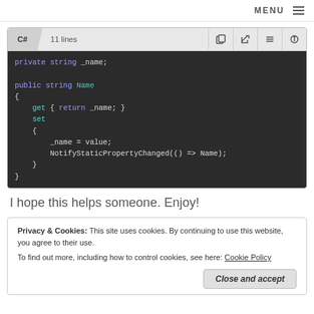MENU ≡
[Figure (screenshot): C# code block showing 11 lines of code with a dark background. Code: private string _name; public string Name { get { return _name; } set { _name = value; NotifyStaticPropertyChanged(() => Name); } }]
I hope this helps someone. Enjoy!
Privacy & Cookies: This site uses cookies. By continuing to use this website, you agree to their use.
To find out more, including how to control cookies, see here: Cookie Policy
Close and accept